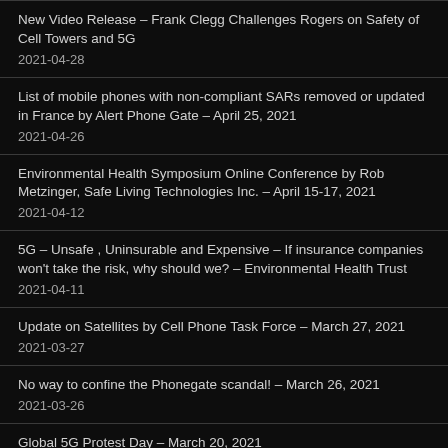New Video Release – Frank Clegg Challenges Rogers on Safety of Cell Towers and 5G
2021-04-28
List of mobile phones with non-compliant SARs removed or updated in France by Alert Phone Gate – April 25, 2021
2021-04-26
Environmental Health Symposium Online Conference by Rob Metzinger, Safe Living Technologies Inc. – April 15-17, 2021
2021-04-12
5G – Unsafe , Uninsurable and Expensive – If insurance companies won't take the risk, why should we? – Environmental Health Trust
2021-04-11
Update on Satellites by Cell Phone Task Force – March 27, 2021
2021-03-27
No way to confine the Phonegate scandal! – March 26, 2021
2021-03-26
Global 5G Protest Day – March 20, 2021
2021-03-16